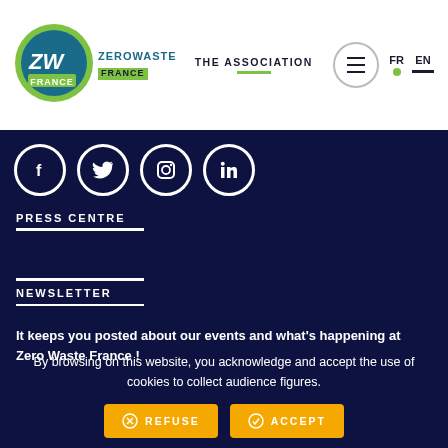[Figure (logo): Zero Waste France logo - green circle with ZW letters and FRANCE text below]
THE ASSOCIATION   FR  EN
[Figure (infographic): Social media icons row: Facebook, Twitter, Instagram, LinkedIn - white circles on dark navy background]
PRESS CENTRE
NEWSLETTER
It keeps you posted about our events and what's happening at Zero Waste France !
By browsing on this website, you acknowledge and accept the use of cookies to collect audience figures.
REFUSE   ACCEPT